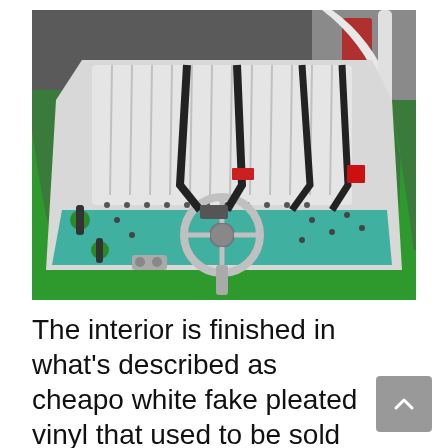[Figure (photo): Interior view of a custom car with white pleated vinyl seating, a steering wheel, black harness belts, and a bright green exterior body. White roll bar visible in background.]
The interior is finished in what's described as cheapo white fake pleated vinyl that used to be sold by